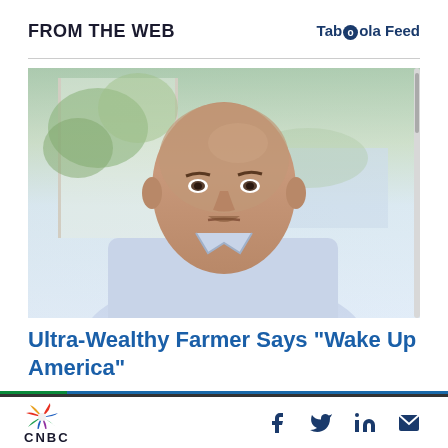FROM THE WEB | Taboola Feed
[Figure (photo): Middle-aged bald man in a light blue shirt seated indoors near a window with greenery visible outside, looking intensely at the camera. Appears to be a video thumbnail screenshot.]
Ultra-Wealthy Farmer Says “Wake Up America”
Sponsored : Investing Outlook
CNBC | social icons: Facebook, Twitter, LinkedIn, Email